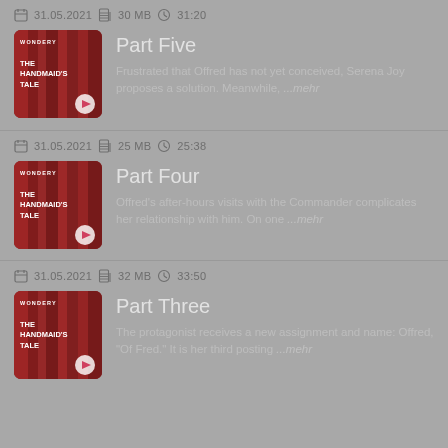31.05.2021  30 MB  31:20
[Figure (illustration): The Handmaid's Tale podcast cover art on Wondery - red curtains background with white text]
Part Five
Frustrated that Offred has not yet conceived, Serena Joy proposes a solution. Meanwhile, ...mehr
31.05.2021  25 MB  25:38
[Figure (illustration): The Handmaid's Tale podcast cover art on Wondery - red curtains background with white text]
Part Four
Offred's after-hours visits with the Commander complicates her relationship with him. On one ...mehr
31.05.2021  32 MB  33:50
[Figure (illustration): The Handmaid's Tale podcast cover art on Wondery - red curtains background with white text]
Part Three
The protagonist receives a new assignment and name: Offred, "Of Fred." It is her third posting ...mehr